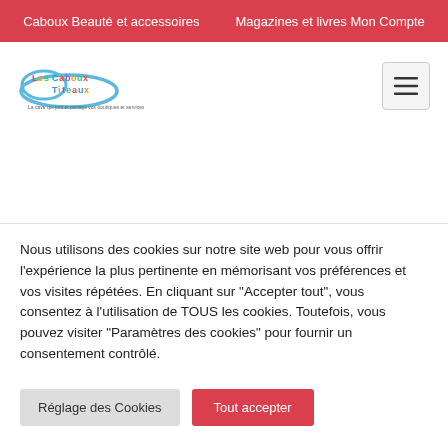Caboux Beauté et accessoires    Magazines et livres Mon Compte
[Figure (logo): Les Caboux Titeaux logo with colorful text and swirl graphic]
[Figure (other): Hamburger menu icon (three horizontal lines) in a grey rounded box]
Nous utilisons des cookies sur notre site web pour vous offrir l'expérience la plus pertinente en mémorisant vos préférences et vos visites répétées. En cliquant sur "Accepter tout", vous consentez à l'utilisation de TOUS les cookies. Toutefois, vous pouvez visiter "Paramètres des cookies" pour fournir un consentement contrôlé.
Réglage des Cookies
Tout accepter